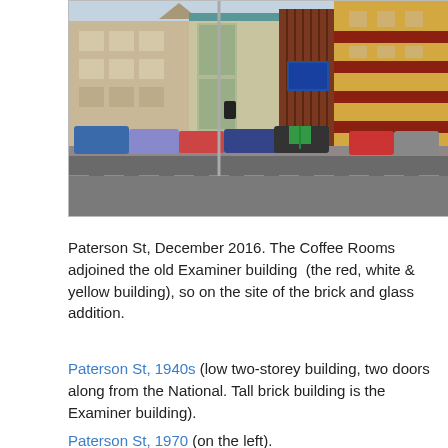[Figure (photo): Street-level photograph taken in December 2016 on Paterson St. Shows a row of buildings including a modern brick and glass addition in the centre, a red/brown corrugated metal structure, and the red, white and yellow old Examiner building on the right. Cars are parked in front of the buildings. A wide road is in the foreground.]
Paterson St, December 2016. The Coffee Rooms adjoined the old Examiner building  (the red, white & yellow building), so on the site of the brick and glass addition.
Paterson St, 1940s (low two-storey building, two doors along from the National. Tall brick building is the Examiner building).
Paterson St, 1970 (on the left).